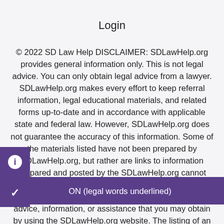Login
© 2022 SD Law Help DISCLAIMER: SDLawHelp.org provides general information only. This is not legal advice. You can only obtain legal advice from a lawyer. SDLawHelp.org makes every effort to keep referral information, legal educational materials, and related forms up-to-date and in accordance with applicable state and federal law. However, SDLawHelp.org does not guarantee the accuracy of this information. Some of the materials listed have not been prepared by SDLawHelp.org, but rather are links to information prepared and posted by the SDLawHelp.org cannot guarantee the accuracy of information posted on other sites, nor is SDLawHelp.org responsible for any legal advice, information, or assistance that you may obtain by using the SDLawHelp.org website. The listing of an organization on this website does not constitute
[Figure (screenshot): Purple UI overlay showing an info icon button (i) and a checkbox/check icon button, with a tooltip bar reading 'ON (legal words underlined)']